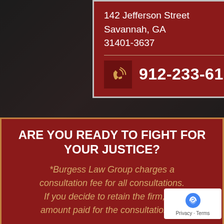142 Jefferson Street
Savannah, GA
31401-3637
DIRECTIONS
912-233-6112
[Figure (logo): Burgess Law Group column/pillar logo watermark]
ARE YOU READY TO FIGHT FOR YOUR JUSTICE?
*Burgess Law Group charges a consultation fee for all consultations. If you decide to retain the firm, the amount paid for the consultation will